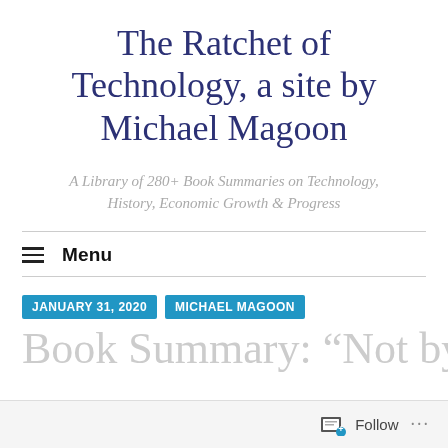The Ratchet of Technology, a site by Michael Magoon
A Library of 280+ Book Summaries on Technology, History, Economic Growth & Progress
≡  Menu
JANUARY 31, 2020   MICHAEL MAGOON
Book Summary: “Not by